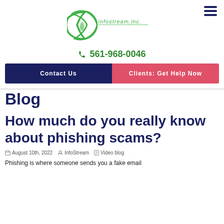[Figure (logo): Infostream, inc. logo with green circular swoosh graphic and green text]
561-968-0046
Contact Us
Clients: Get Help Now
Blog
How much do you really know about phishing scams?
August 10th, 2022   InfoStream   Video blog
Phishing is where someone sends you a fake email